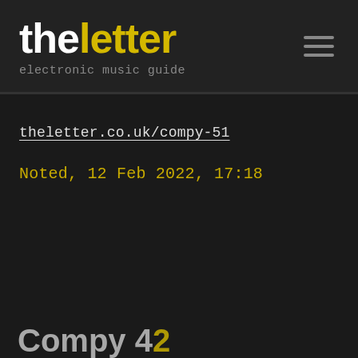the letter — electronic music guide
theletter.co.uk/compy-51
Noted, 12 Feb 2022, 17:18